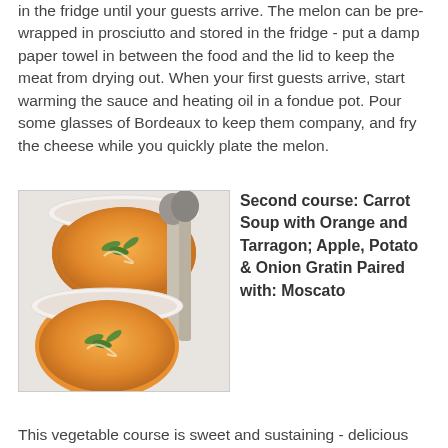in the fridge until your guests arrive. The melon can be pre-wrapped in prosciutto and stored in the fridge - put a damp paper towel in between the food and the lid to keep the meat from drying out. When your first guests arrive, start warming the sauce and heating oil in a fondue pot. Pour some glasses of Bordeaux to keep them company, and fry the cheese while you quickly plate the melon.
[Figure (photo): Two bowls of orange-colored soup (carrot soup) garnished with green herb leaves, alongside two silver spoons with beige handles, on a white surface.]
Second course: Carrot Soup with Orange and Tarragon; Apple, Potato & Onion Gratin Paired with: Moscato
This vegetable course is sweet and sustaining - delicious